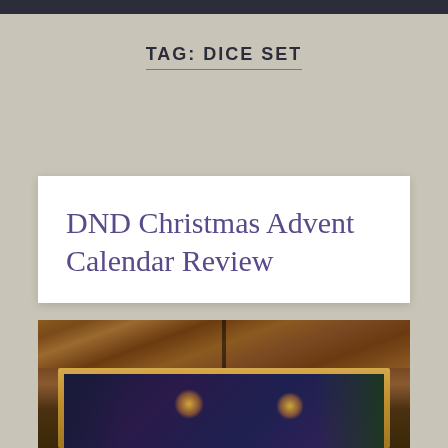TAG: DICE SET
DND Christmas Advent Calendar Review
[Figure (photo): Photo of a DND Christmas Advent Calendar box placed on a wooden table. The box has a dark Christmas-themed illustration with candles, stockings, a Christmas tree, and numbered advent calendar doors.]